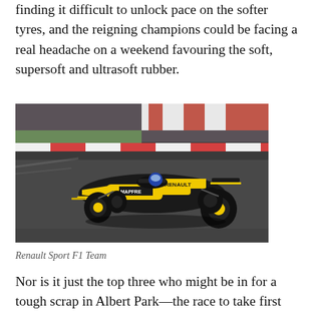finding it difficult to unlock pace on the softer tyres, and the reigning champions could be facing a real headache on a weekend favouring the soft, supersoft and ultrasoft rubber.
[Figure (photo): A Renault Sport F1 Team car on track, black and yellow livery with MAPFRE sponsorship, cornering on a circuit with red and white barriers in the background.]
Renault Sport F1 Team
Nor is it just the top three who might be in for a tough scrap in Albert Park—the race to take first blood in the upper midfield battle